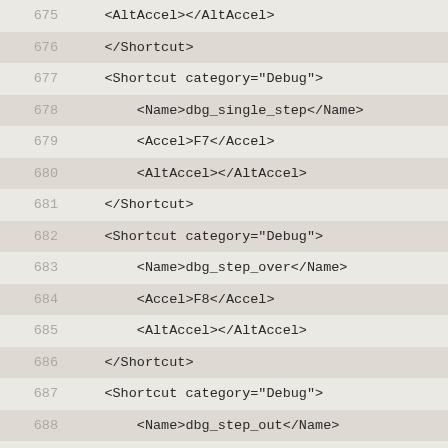Code listing lines 675-701, XML shortcut definitions for Debug category
675: <AltAccel></AltAccel>
676:     </Shortcut>
677: <Shortcut category="Debug">
678:     <Name>dbg_single_step</Name>
679:     <Accel>F7</Accel>
680:     <AltAccel></AltAccel>
681:     </Shortcut>
682: <Shortcut category="Debug">
683:     <Name>dbg_step_over</Name>
684:     <Accel>F8</Accel>
685:     <AltAccel></AltAccel>
686:     </Shortcut>
687: <Shortcut category="Debug">
688:     <Name>dbg_step_out</Name>
689:     <Accel>F9</Accel>
690:     <AltAccel></AltAccel>
691:     </Shortcut>
692: <Shortcut category="Debug">
693:     <Name>dbg_stop</Name>
694:     <Accel>F10</Accel>
695:     <AltAccel></AltAccel>
696:     </Shortcut>
697: <Shortcut category="Debug">
698:     <Name>dbg_evaluate</Name>
699:     <Accel></Accel>
700:     <AltAccel></AltAccel>
701:     </Shortcut>